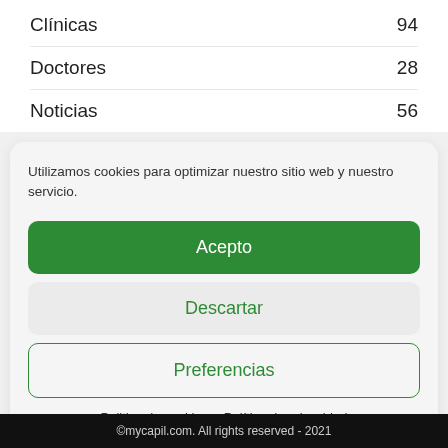Clínicas  94
Doctores  28
Noticias  56
Utilizamos cookies para optimizar nuestro sitio web y nuestro servicio.
Acepto
Descartar
Preferencias
Politica de cookies   Política de privacidad
©mycapil.com. All rights reserved - 2021